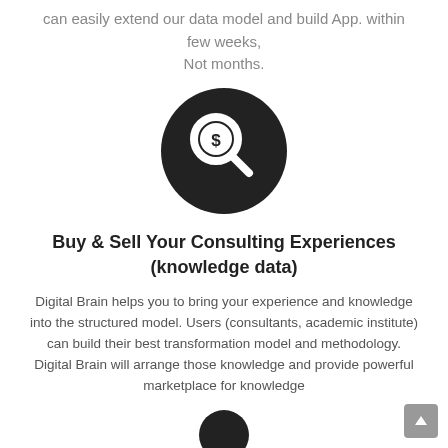can easily extend our data model and build App. within few weeks, Not months.
[Figure (illustration): Dark circle icon with a magnifying glass containing a dollar sign symbol]
Buy & Sell Your Consulting Experiences (knowledge data)
Digital Brain helps you to bring your experience and knowledge into the structured model. Users (consultants, academic institute) can build their best transformation model and methodology. Digital Brain will arrange those knowledge and provide powerful marketplace for knowledge
[Figure (illustration): Partial dark circle icon at the bottom, appears to be a person/user avatar icon]